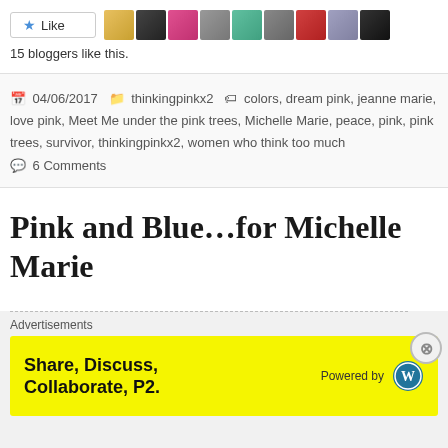[Figure (other): Like button with star icon and 9 blogger avatar thumbnails]
15 bloggers like this.
04/06/2017  thinkingpinkx2  colors, dream pink, jeanne marie, love pink, Meet Me under the pink trees, Michelle Marie, peace, pink, pink trees, survivor, thinkingpinkx2, women who think too much  6 Comments
Pink and Blue...for Michelle Marie
Advertisements
[Figure (other): Yellow advertisement banner: Share, Discuss, Collaborate, P2. Powered by WordPress logo]